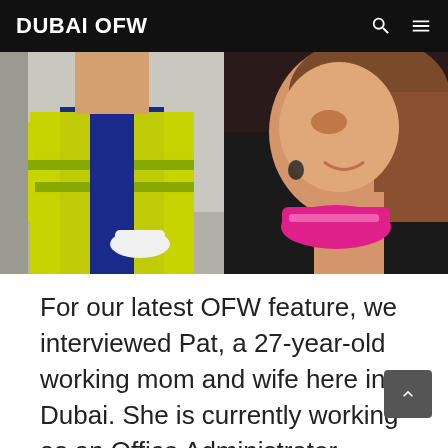DUBAI OFW
[Figure (photo): Split photo: left side shows a person wearing a yellow high-visibility safety vest at a construction or work site; right side shows a young woman smiling and wearing pink headphones around her neck.]
For our latest OFW feature, we interviewed Pat, a 27-year-old working mom and wife here in Dubai. She is currently working as an Office Administrator, Support...